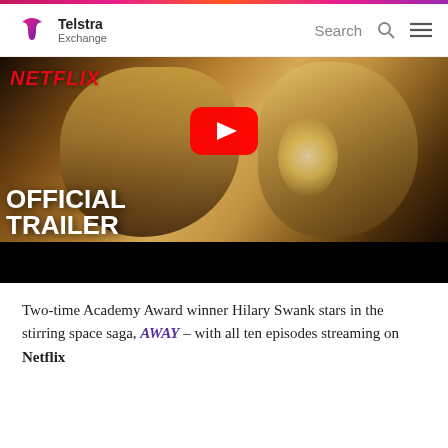Telstra Exchange
[Figure (screenshot): Netflix video thumbnail showing two women in a warm indoor scene, with OFFICIAL TRAILER text overlay, YouTube play button, and Netflix branding. Black bar at bottom.]
Two-time Academy Award winner Hilary Swank stars in the stirring space saga, AWAY – with all ten episodes streaming on Netflix